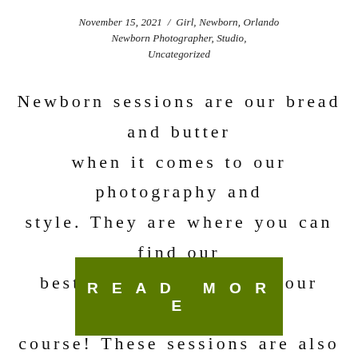November 15, 2021  /  Girl, Newborn, Orlando Newborn Photographer, Studio, Uncategorized
Newborn sessions are our bread and butter when it comes to our photography and style. They are where you can find our best images, as well as our cutest of course! These sessions are also where our best ideas and brightest moments and theme stem from and help us grow our style and elegance in [...]
READ MORE